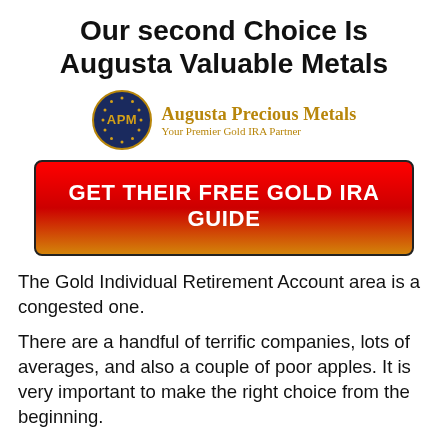Our second Choice Is Augusta Valuable Metals
[Figure (logo): Augusta Precious Metals logo: circular dark blue badge with gold 'APM' text and stars, beside text 'Augusta Precious Metals' and tagline 'Your Premier Gold IRA Partner']
GET THEIR FREE GOLD IRA GUIDE
The Gold Individual Retirement Account area is a congested one.
There are a handful of terrific companies, lots of averages, and also a couple of poor apples. It is very important to make the right choice from the beginning.